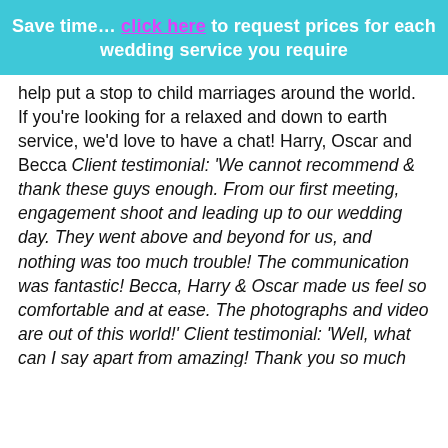Save time… click here to request prices for each wedding service you require
help put a stop to child marriages around the world. If you're looking for a relaxed and down to earth service, we'd love to have a chat! Harry, Oscar and Becca Client testimonial: 'We cannot recommend & thank these guys enough. From our first meeting, engagement shoot and leading up to our wedding day. They went above and beyond for us, and nothing was too much trouble! The communication was fantastic! Becca, Harry & Oscar made us feel so comfortable and at ease. The photographs and video are out of this world!' Client testimonial: 'Well, what can I say apart from amazing! Thank you so much for being a part of our special day and for taking fabulous photographs as well as being professional! Highly recommended and we